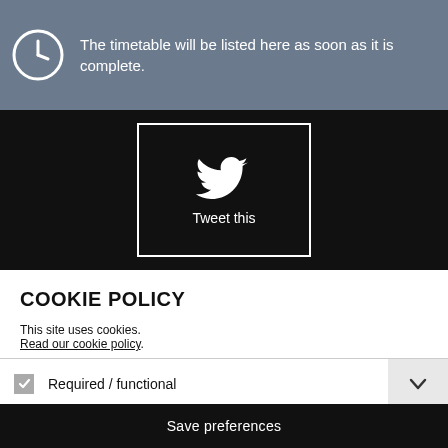The timetable will be listed here as soon as it is complete.
[Figure (logo): Twitter bird logo with 'Tweet this' text on dark background]
COOKIE POLICY
This site uses cookies.
Read our cookie policy.
Required / functional
Social plugins / marketing
Save preferences